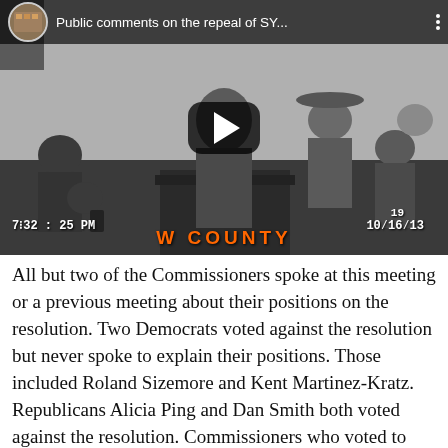[Figure (screenshot): YouTube video thumbnail showing a public meeting. A man stands at a podium labeled 'W COUNTY'. Several people are seated in the background. A play button overlay is visible at center. Title bar reads 'Public comments on the repeal of SY...' Timestamp shows '7:32:25 PM  10/16/13'.]
All but two of the Commissioners spoke at this meeting or a previous meeting about their positions on the resolution. Two Democrats voted against the resolution but never spoke to explain their positions. Those included Roland Sizemore and Kent Martinez-Kratz. Republicans Alicia Ping and Dan Smith both voted against the resolution. Commissioners who voted to